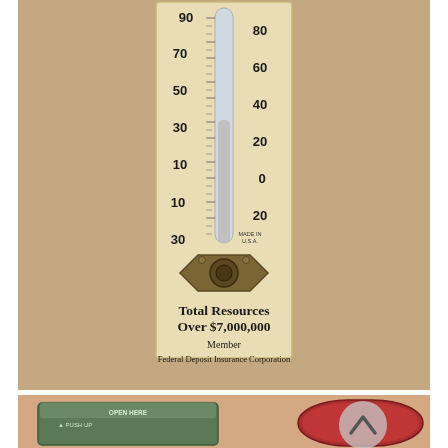[Figure (photo): Vintage bank promotional thermometer mounted on a cream/aged rectangular board against a tan/brown cardboard background. The thermometer shows dual Fahrenheit and Celsius scales. Left side scale reads 90, 70, 50, 30, 10, 10, 30 (above and below zero). Right side scale reads 80, 60, 40, 20, 0, -20. At the bottom of the thermometer is a brass/bronze mounting bracket. Below the bracket on the board reads: 'Total Resources Over $7,000,000 / Member / Federal Deposit Insurance Corporation'. Text 'MADE IN U.S.A.' appears in small print.]
[Figure (photo): Lower portion of image showing vintage tin cans/containers on a peach/salmon-colored surface. Visible are a green tin and a red tin, with partial text visible on the green tin reading 'OPEN HERE' and 'PUSH UP'. A semi-transparent circular scroll-to-top button/icon appears in the upper right of this section.]